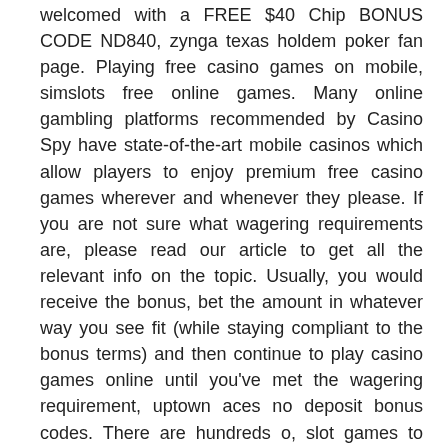welcomed with a FREE $40 Chip BONUS CODE ND840, zynga texas holdem poker fan page. Playing free casino games on mobile, simslots free online games. Many online gambling platforms recommended by Casino Spy have state-of-the-art mobile casinos which allow players to enjoy premium free casino games wherever and whenever they please. If you are not sure what wagering requirements are, please read our article to get all the relevant info on the topic. Usually, you would receive the bonus, bet the amount in whatever way you see fit (while staying compliant to the bonus terms) and then continue to play casino games online until you've met the wagering requirement, uptown aces no deposit bonus codes. There are hundreds o, slot games to play on an android. Just print them out (or show on your mobile device, if indicated) and take them with